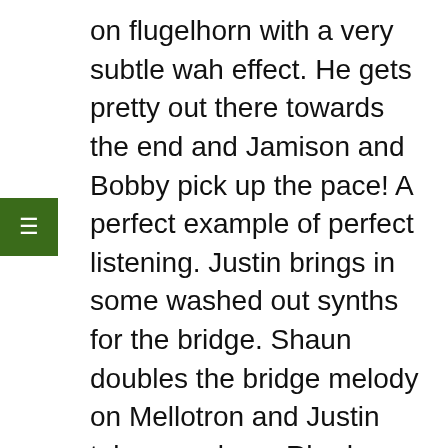on flugelhorn with a very subtle wah effect. He gets pretty out there towards the end and Jamison and Bobby pick up the pace! A perfect example of perfect listening. Justin brings in some washed out synths for the bridge. Shaun doubles the bridge melody on Mellotron and Justin takes a solo on Rhodes. McQueen experiments with textures in his comping. The unison keyboard and Guitar melody always gives me the chills. The outro is lush and McQueen doubles the bassline leaving the three piece keyboard section to highlight the amazing chord progression.